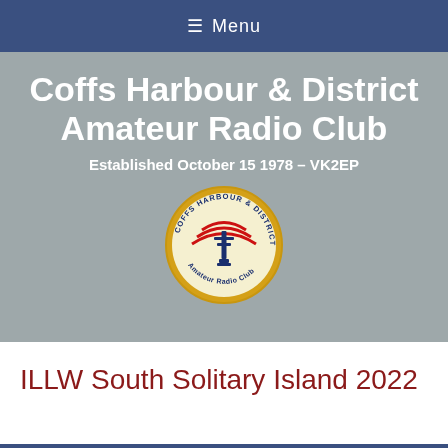≡ Menu
Coffs Harbour & District Amateur Radio Club
Established October 15 1978 – VK2EP
[Figure (logo): Coffs Harbour & District Amateur Radio Club circular logo with radio wave and antenna graphic in red and blue on gold/cream background]
ILLW South Solitary Island 2022